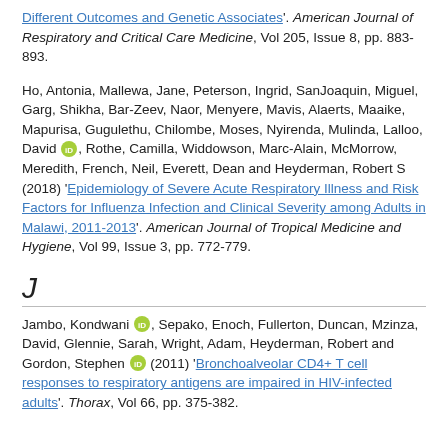Different Outcomes and Genetic Associates. American Journal of Respiratory and Critical Care Medicine, Vol 205, Issue 8, pp. 883-893.
Ho, Antonia, Mallewa, Jane, Peterson, Ingrid, SanJoaquin, Miguel, Garg, Shikha, Bar-Zeev, Naor, Menyere, Mavis, Alaerts, Maaike, Mapurisa, Gugulethu, Chilombe, Moses, Nyirenda, Mulinda, Lalloo, David [ORCID], Rothe, Camilla, Widdowson, Marc-Alain, McMorrow, Meredith, French, Neil, Everett, Dean and Heyderman, Robert S (2018) 'Epidemiology of Severe Acute Respiratory Illness and Risk Factors for Influenza Infection and Clinical Severity among Adults in Malawi, 2011-2013'. American Journal of Tropical Medicine and Hygiene, Vol 99, Issue 3, pp. 772-779.
J
Jambo, Kondwani [ORCID], Sepako, Enoch, Fullerton, Duncan, Mzinza, David, Glennie, Sarah, Wright, Adam, Heyderman, Robert and Gordon, Stephen [ORCID] (2011) 'Bronchoalveolar CD4+ T cell responses to respiratory antigens are impaired in HIV-infected adults'. Thorax, Vol 66, pp. 375-382.